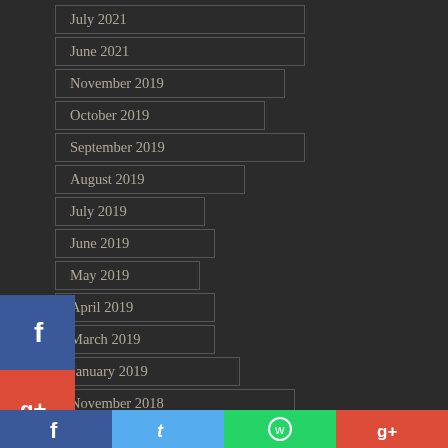July 2021
June 2021
November 2019
October 2019
September 2019
August 2019
July 2019
June 2019
May 2019
April 2019
March 2019
January 2019
November 2018
October 2018
October 2018